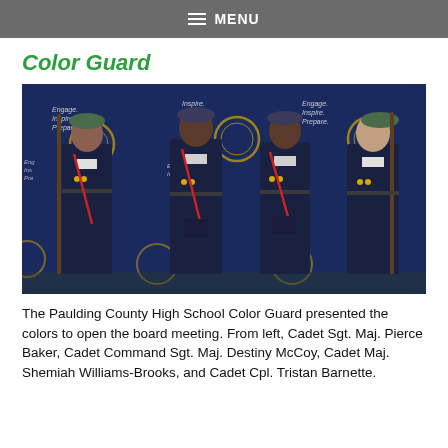MENU
Color Guard
[Figure (photo): Four JROTC cadets in dress uniforms standing at attention in front of a blue backdrop with logos reading 'Engage. Inspire. Prepare.' Two cadets hold rifles. They wear dark blue uniforms with berets, medals, and white/red sashes.]
The Paulding County High School Color Guard presented the colors to open the board meeting. From left, Cadet Sgt. Maj. Pierce Baker, Cadet Command Sgt. Maj. Destiny McCoy, Cadet Maj. Shemiah Williams-Brooks, and Cadet Cpl. Tristan Barnette.